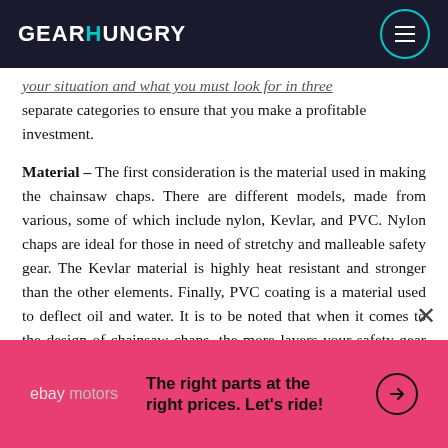GEARHUNGRY (logo) | menu button
your situation and what you must look for in three separate categories to ensure that you make a profitable investment.
Material – The first consideration is the material used in making the chainsaw chaps. There are different models, made from various, some of which include nylon, Kevlar, and PVC. Nylon chaps are ideal for those in need of stretchy and malleable safety gear. The Kevlar material is highly heat resistant and stronger than the other elements. Finally, PVC coating is a material used to deflect oil and water. It is to be noted that when it comes to the design of chainsaw chaps, the more layers your safety gear has, the better it is at offering protection.
[Figure (infographic): eBay Motors advertisement banner with pink background. Shows ebay motors logo on left, bold text 'The right parts at the right prices. Let's ride!' in center, and a circled arrow icon on right.]